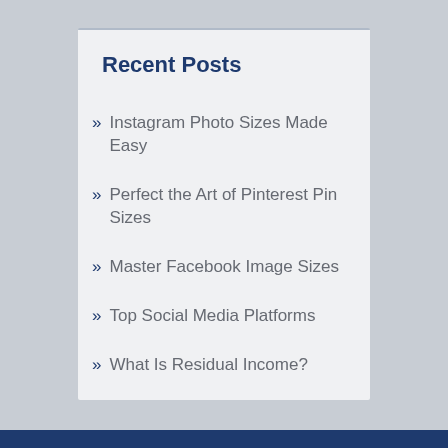Recent Posts
Instagram Photo Sizes Made Easy
Perfect the Art of Pinterest Pin Sizes
Master Facebook Image Sizes
Top Social Media Platforms
What Is Residual Income?